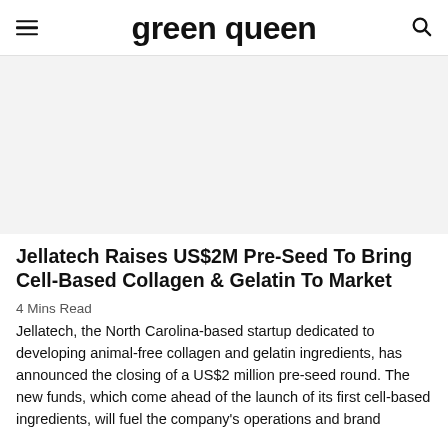green queen
[Figure (photo): Large image placeholder with light grey background, likely a product or article hero image related to Jellatech cell-based collagen and gelatin.]
Jellatech Raises US$2M Pre-Seed To Bring Cell-Based Collagen & Gelatin To Market
4 Mins Read
Jellatech, the North Carolina-based startup dedicated to developing animal-free collagen and gelatin ingredients, has announced the closing of a US$2 million pre-seed round. The new funds, which come ahead of the launch of its first cell-based ingredients, will fuel the company's operations and brand